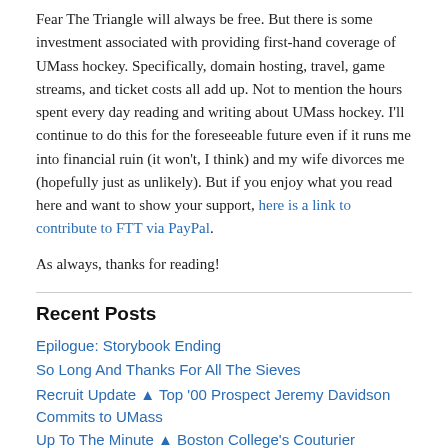Fear The Triangle will always be free. But there is some investment associated with providing first-hand coverage of UMass hockey. Specifically, domain hosting, travel, game streams, and ticket costs all add up. Not to mention the hours spent every day reading and writing about UMass hockey. I'll continue to do this for the foreseeable future even if it runs me into financial ruin (it won't, I think) and my wife divorces me (hopefully just as unlikely). But if you enjoy what you read here and want to show your support, here is a link to contribute to FTT via PayPal.
As always, thanks for reading!
Recent Posts
Epilogue: Storybook Ending
So Long And Thanks For All The Sieves
Recruit Update ▲ Top '00 Prospect Jeremy Davidson Commits to UMass
Up To The Minute ▲ Boston College's Couturier Transfers To UMass